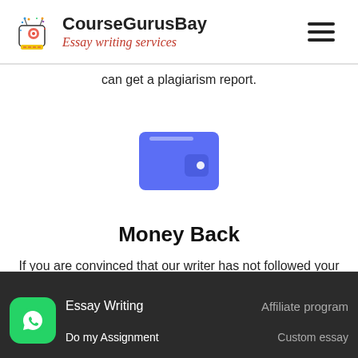CourseGurusBay — Essay writing services
can get a plagiarism report.
[Figure (illustration): Blue wallet icon with a white card slot and small white circle dot on the right side]
Money Back
If you are convinced that our writer has not followed your requirements, feel free to ask for a refund.
Essay Writing | Do my Assignment | Affiliate program | Custom essay